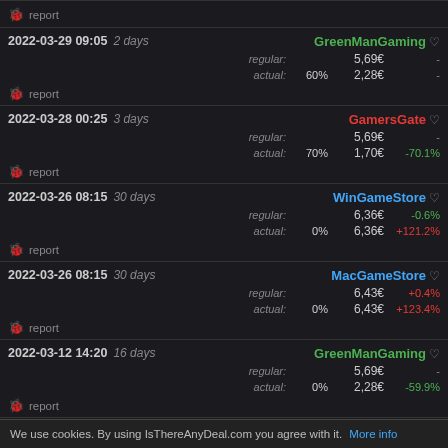report
2022-03-29 09:05 2 days | GreenManGaming | regular: 5,69€ - | actual: 60% 2,28€ -
report
2022-03-28 00:25 3 days | GamersGate | regular: 5,69€ - | actual: 70% 1,70€ -70.1%
report
2022-03-26 08:15 30 days | WinGameStore | regular: 6,36€ -0.6% | actual: 0% 6,36€ +121.2%
report
2022-03-26 08:15 30 days | MacGameStore | regular: 6,43€ +0.4% | actual: 0% 6,43€ +123.4%
report
2022-03-12 14:20 16 days | GreenManGaming | regular: 5,69€ - | actual: 0% 2,28€ -59.9%
report
2022-03-12 14:17 13 days | WinGameStore | regular: 6,49€ +0.0%
We use cookies. By using IsThereAnyDeal.com you agree with it. More info